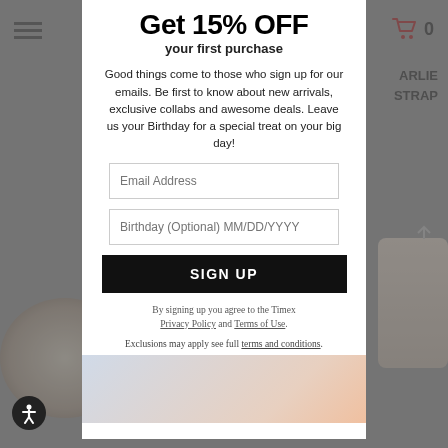[Figure (screenshot): Website popup modal for Timex email signup offering 15% off first purchase, shown over a dimmed product page background. Modal contains headline, body text, email and birthday input fields, a SIGN UP button, and legal/privacy text. Bottom shows a partial lifestyle image.]
Get 15% OFF
your first purchase
Good things come to those who sign up for our emails. Be first to know about new arrivals, exclusive collabs and awesome deals. Leave us your Birthday for a special treat on your big day!
Email Address
Birthday (Optional) MM/DD/YYYY
SIGN UP
By signing up you agree to the Timex Privacy Policy and Terms of Use.
Exclusions may apply see full terms and conditions.